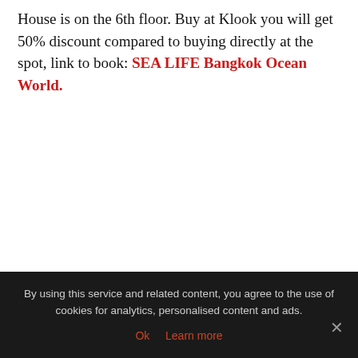House is on the 6th floor. Buy at Klook you will get 50% discount compared to buying directly at the spot, link to book: SEA LIFE Bangkok Ocean World.
By using this service and related content, you agree to the use of cookies for analytics, personalised content and ads. Ok  Learn more